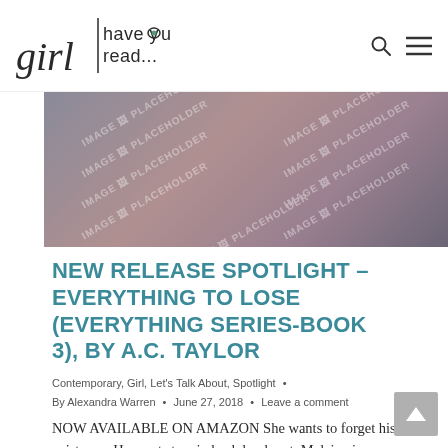girl have you read...
[Figure (photo): Banner image placeholder with diagonal 'IMAGE PLACEHOLDER' watermark text repeated across a blurred, muted purple-gray gradient background.]
NEW RELEASE SPOTLIGHT – EVERYTHING TO LOSE (EVERYTHING SERIES-BOOK 3), BY A.C. TAYLOR
Contemporary, Girl, Let's Talk About, Spotlight •
By Alexandra Warren • June 27, 2018 • Leave a comment
NOW AVAILABLE ON AMAZON She wants to forget his existence. He wants to win back her heart. Melaina is ready to put her past behind